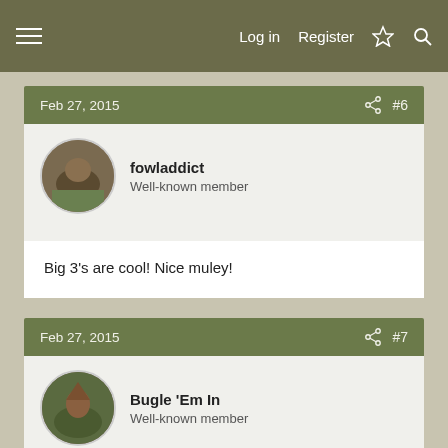Log in  Register  [icons]
Feb 27, 2015  #6
fowladdict
Well-known member
Big 3's are cool! Nice muley!
Feb 27, 2015  #7
Bugle 'Em In
Well-known member
Great buck Trent! Congrats again.
Feb 27, 2015  #8